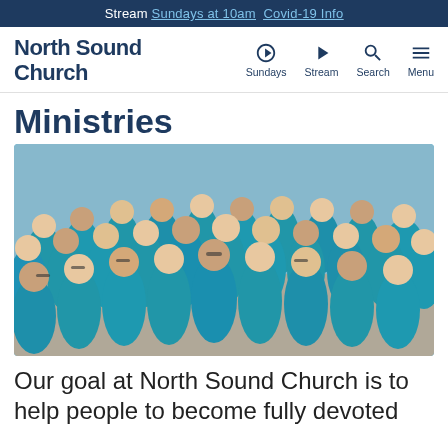Stream Sundays at 10am  Covid-19 Info
North Sound Church — Sundays Stream Search Menu
Ministries
[Figure (photo): Large group of people wearing matching blue North Sound Church t-shirts posing together outdoors in a parking lot, smiling at the camera.]
Our goal at North Sound Church is to help people to become fully devoted